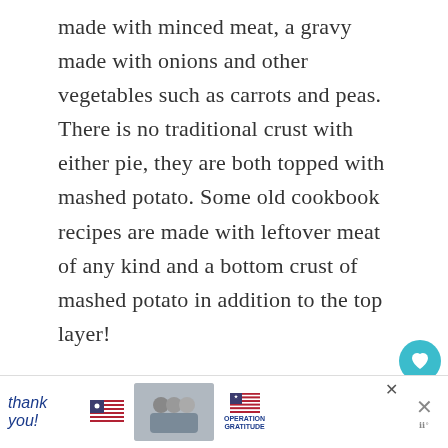made with minced meat, a gravy made with onions and other vegetables such as carrots and peas. There is no traditional crust with either pie, they are both topped with mashed potato. Some old cookbook recipes are made with leftover meat of any kind and a bottom crust of mashed potato in addition to the top layer!
Why do they call it Shepherd's Pie?
[Figure (screenshot): Advertisement banner at bottom: 'Thank you' handwritten text with US flag illustration, photo of masked healthcare workers holding books/cards, Operation Gratitude logo with US flag star, close and dismiss buttons]